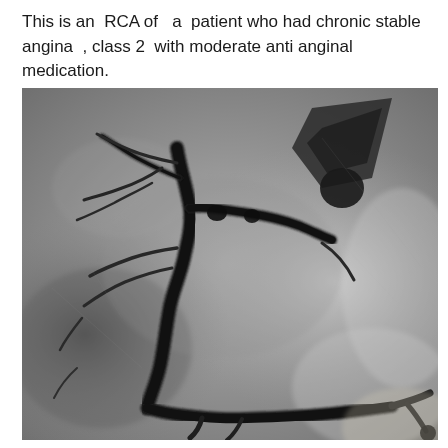This is an RCA of a patient who had chronic stable angina , class 2 with moderate anti anginal medication.
[Figure (photo): Coronary angiogram (catheterization image) showing the Right Coronary Artery (RCA) of a patient with chronic stable angina class 2. The grayscale X-ray image displays the contrast-filled coronary vessels with visible arterial branching patterns against a gray cardiac background.]